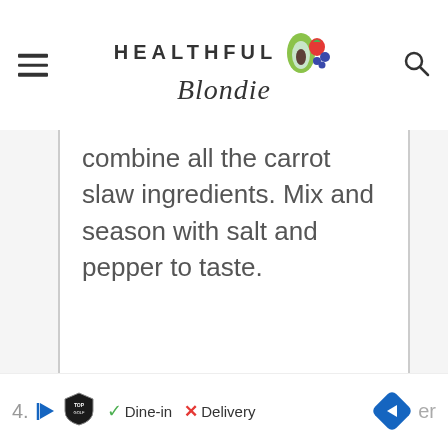HEALTHFUL Blondie
combine all the carrot slaw ingredients. Mix and season with salt and pepper to taste.
[Figure (other): Advertisement bar with TopGolf logo, play/pause button, checkmark Dine-in, X Delivery, navigation arrow diamond icon, and partial step number '4.' visible at bottom left]